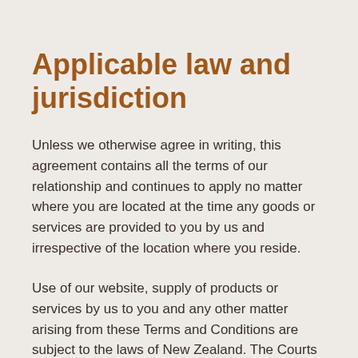Applicable law and jurisdiction
Unless we otherwise agree in writing, this agreement contains all the terms of our relationship and continues to apply no matter where you are located at the time any goods or services are provided to you by us and irrespective of the location where you reside.
Use of our website, supply of products or services by us to you and any other matter arising from these Terms and Conditions are subject to the laws of New Zealand. The Courts of New Zealand shall have non-exclusive jurisdiction over all claims or disputes arising in